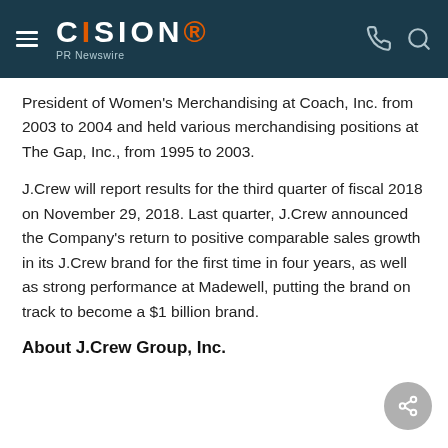CISION PR Newswire
President of Women's Merchandising at Coach, Inc. from 2003 to 2004 and held various merchandising positions at The Gap, Inc., from 1995 to 2003.
J.Crew will report results for the third quarter of fiscal 2018 on November 29, 2018. Last quarter, J.Crew announced the Company's return to positive comparable sales growth in its J.Crew brand for the first time in four years, as well as strong performance at Madewell, putting the brand on track to become a $1 billion brand.
About J.Crew Group, Inc.